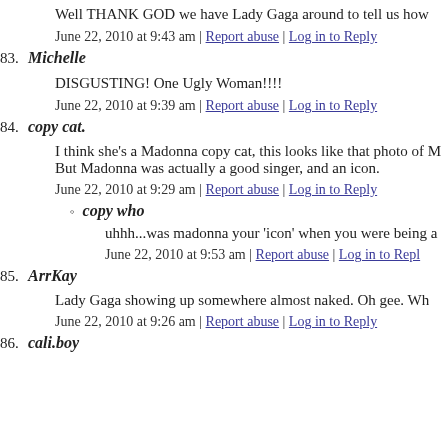Well THANK GOD we have Lady Gaga around to tell us how
June 22, 2010 at 9:43 am | Report abuse | Log in to Reply
83. Michelle
DISGUSTING! One Ugly Woman!!!!
June 22, 2010 at 9:39 am | Report abuse | Log in to Reply
84. copy cat.
I think she's a Madonna copy cat, this looks like that photo of M... But Madonna was actually a good singer, and an icon.
June 22, 2010 at 9:29 am | Report abuse | Log in to Reply
copy who
uhhh...was madonna your 'icon' when you were being a
June 22, 2010 at 9:53 am | Report abuse | Log in to Repl
85. ArrKay
Lady Gaga showing up somewhere almost naked. Oh gee. Wh
June 22, 2010 at 9:26 am | Report abuse | Log in to Reply
86. cali.boy